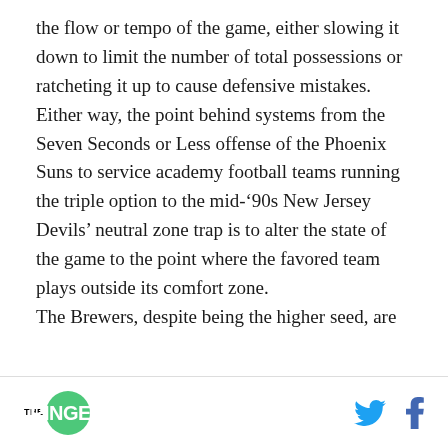the flow or tempo of the game, either slowing it down to limit the number of total possessions or ratcheting it up to cause defensive mistakes. Either way, the point behind systems from the Seven Seconds or Less offense of the Phoenix Suns to service academy football teams running the triple option to the mid-’90s New Jersey Devils’ neutral zone trap is to alter the state of the game to the point where the favored team plays outside its comfort zone.

The Brewers, despite being the higher seed, are
THE RINGER